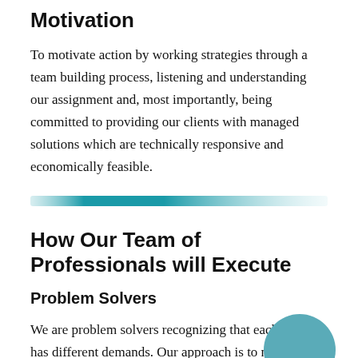Motivation
To motivate action by working strategies through a team building process, listening and understanding our assignment and, most importantly, being committed to providing our clients with managed solutions which are technically responsive and economically feasible.
[Figure (other): Horizontal decorative gradient bar transitioning from teal/dark cyan on the left to light teal/white on the right]
How Our Team of Professionals will Execute
Problem Solvers
We are problem solvers recognizing that each client has different demands. Our approach is to marshal the needed resources to match those demands